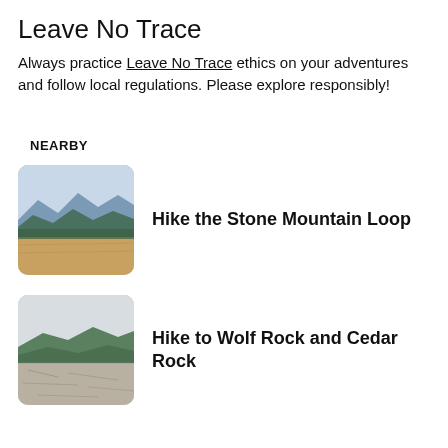Leave No Trace
Always practice Leave No Trace ethics on your adventures and follow local regulations. Please explore responsibly!
NEARBY
[Figure (photo): Mountain landscape with blue ridges and rocky foreground, thumbnail for Hike the Stone Mountain Loop]
Hike the Stone Mountain Loop
[Figure (photo): Green mountain landscape with granite rock surface, thumbnail for Hike to Wolf Rock and Cedar Rock]
Hike to Wolf Rock and Cedar Rock